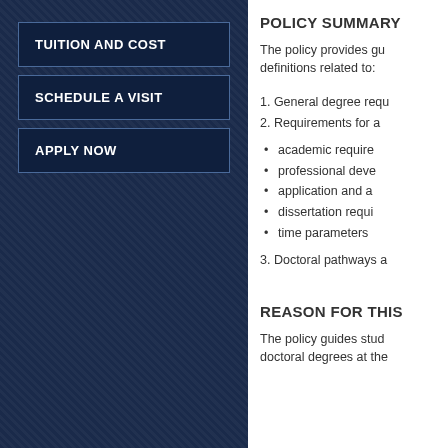TUITION AND COST
SCHEDULE A VISIT
APPLY NOW
POLICY SUMMARY
The policy provides guidance and definitions related to:
1. General degree requirements
2. Requirements for a
academic requirements
professional development
application and admission
dissertation requirements
time parameters
3. Doctoral pathways and
REASON FOR THIS
The policy guides students pursuing doctoral degrees at the